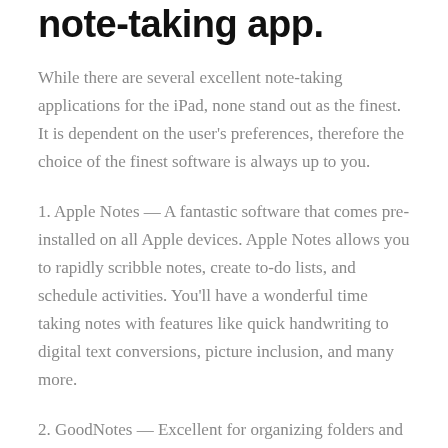note-taking app.
While there are several excellent note-taking applications for the iPad, none stand out as the finest. It is dependent on the user's preferences, therefore the choice of the finest software is always up to you.
1. Apple Notes — A fantastic software that comes pre-installed on all Apple devices. Apple Notes allows you to rapidly scribble notes, create to-do lists, and schedule activities. You'll have a wonderful time taking notes with features like quick handwriting to digital text conversions, picture inclusion, and many more.
2. GoodNotes — Excellent for organizing folders and creating list or grid layouts. GoodNotes allows you to